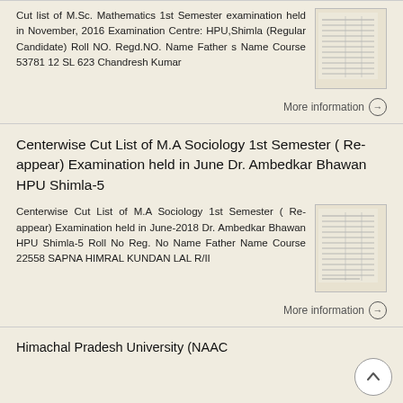Cut list of M.Sc. Mathematics 1st Semester examination held in November, 2016 Examination Centre: HPU,Shimla (Regular Candidate) Roll NO. Regd.NO. Name Father s Name Course 53781 12 SL 623 Chandresh Kumar
More information →
Centerwise Cut List of M.A Sociology 1st Semester ( Re-appear) Examination held in June Dr. Ambedkar Bhawan HPU Shimla-5
Centerwise Cut List of M.A Sociology 1st Semester ( Re-appear) Examination held in June-2018 Dr. Ambedkar Bhawan HPU Shimla-5 Roll No Reg. No Name Father Name Course 22558 SAPNA HIMRAL KUNDAN LAL R/II
More information →
Himachal Pradesh University (NAAC